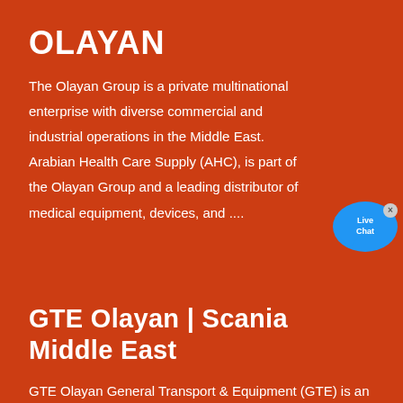OLAYAN
The Olayan Group is a private multinational enterprise with diverse commercial and industrial operations in the Middle East. Arabian Health Care Supply (AHC), is part of the Olayan Group and a leading distributor of medical equipment, devices, and ....
[Figure (illustration): Live Chat bubble icon with blue color]
GTE Olayan | Scania Middle East
GTE Olayan General Transport & Equipment (GTE) is an extended arm of the parent company, GCC Olayan that was established in the Kingdom of Saudi Arabia in 1947. GTE has been a key market player in transforming the